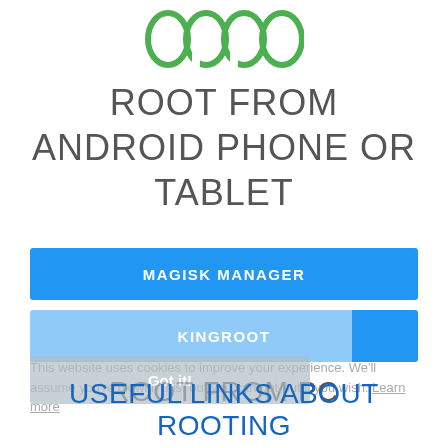[Figure (logo): OPPO brand logo in green]
ROOT FROM ANDROID PHONE OR TABLET
MAGISK MANAGER
KINGROOT
This website uses cookies to improve your experience. We'll assume you're ok with this, but you can opt-out if you wish. Learn more
ROOT FROM PC
Got it!
USEFUL LINKS ABOUT ROOTING